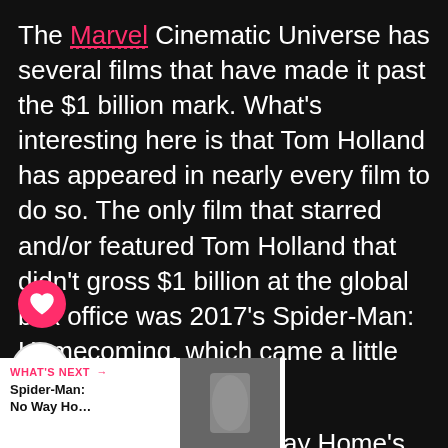The Marvel Cinematic Universe has several films that have made it past the $1 billion mark. What's interesting here is that Tom Holland has appeared in nearly every film to do so. The only film that starred and/or featured Tom Holland that didn't gross $1 billion at the global box office was 2017's Spider-Man: Homecoming, which came a little over $100 million short.
Having said that, No Way Home's continued excellence continues to surprise everyone. Because of the COVID-19 pandemic, most expected No Way Home to gross $1 billion let alone $1.5 billion. But, as per The Numbers, No Way Home is now the third-most...